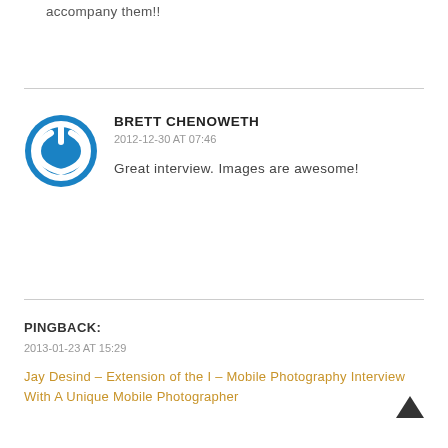accompany them!!
BRETT CHENOWETH
2012-12-30 AT 07:46
Great interview. Images are awesome!
PINGBACK:
2013-01-23 AT 15:29
Jay Desind – Extension of the I – Mobile Photography Interview With A Unique Mobile Photographer